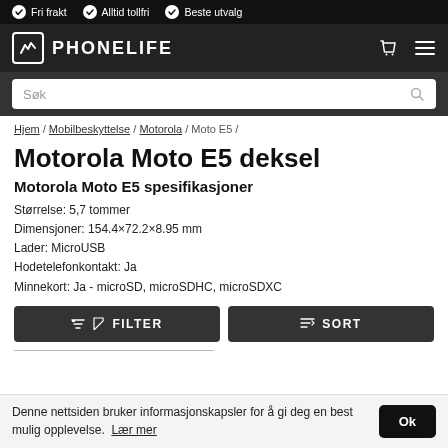Fri frakt  Alltid tollfri  Beste utvalg
[Figure (logo): Phonelife logo with navigation icons]
Søk
Hjem / Mobilbeskyttelse / Motorola / Moto E5 /
Motorola Moto E5 deksel
Motorola Moto E5 spesifikasjoner
Størrelse: 5,7 tommer
Dimensjoner: 154.4×72.2×8.95 mm
Lader: MicroUSB
Hodetelefonkontakt: Ja
Minnekort: Ja - microSD, microSDHC, microSDXC
FILTER  SORT
Denne nettsiden bruker informasjonskapsler for å gi deg en best mulig opplevelse.  Lær mer